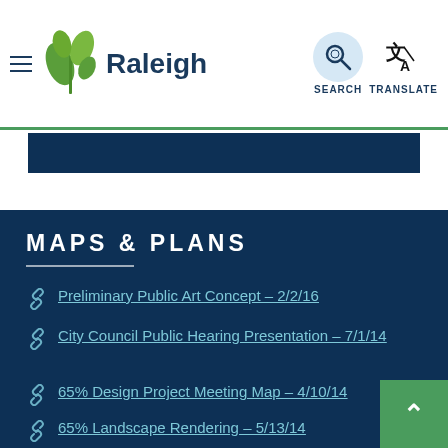Raleigh — navigation header with hamburger menu, logo, search and translate buttons
MAPS & PLANS
Preliminary Public Art Concept – 2/2/16
City Council Public Hearing Presentation – 7/1/14
65% Design Project Meeting Map – 4/10/14
65% Landscape Rendering – 5/13/14